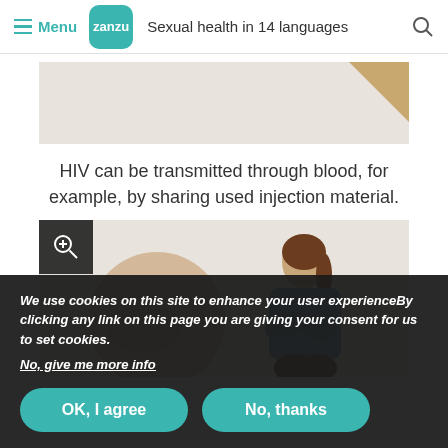Menu  zanzu  Sexual health in 14 languages
[Figure (illustration): Partial illustration showing top of scene, beige/tan background with corner detail]
HIV can be transmitted through blood, for example, by sharing used injection material.
[Figure (illustration): Illustration showing a circular close-up of an injection/syringe and a woman sitting with arms crossed, looking downward]
We use cookies on this site to enhance your user experienceBy clicking any link on this page you are giving your consent for us to set cookies.
No, give me more info
OK, I agree    No, thanks
HIV can be transmitted through breast-milk when